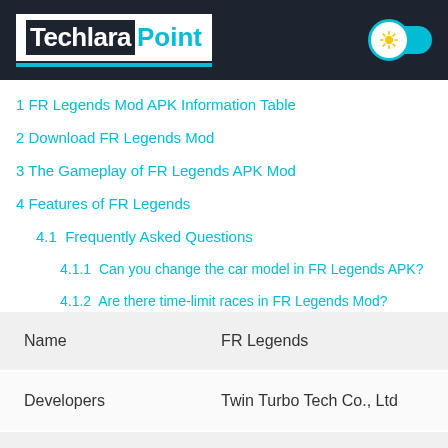Techlara Point
1 FR Legends Mod APK Information Table
2 Download FR Legends Mod
3 The Gameplay of FR Legends APK Mod
4 Features of FR Legends
4.1  Frequently Asked Questions
4.1.1  Can you change the car model in FR Legends APK?
4.1.2  Are there time-limit races in FR Legends Mod?
4.1.3  How to play FR Legends APK Mod on PC?
| Name | FR Legends |
| --- | --- |
| Developers | Twin Turbo Tech Co., Ltd |
| Genre | Racing |